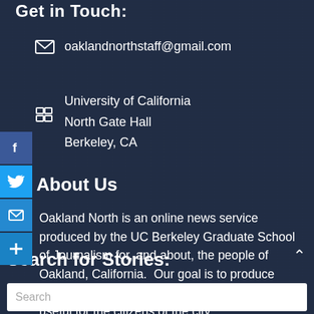Get in Touch:
oaklandnorthstaff@gmail.com
University of California
North Gate Hall
Berkeley, CA
About Us
Oakland North is an online news service produced by the UC Berkeley Graduate School of Journalism for, and about, the people of Oakland, California.  Our goal is to produce professional and engaging journalism that is useful for the citizens of the city.
Search for Stories: